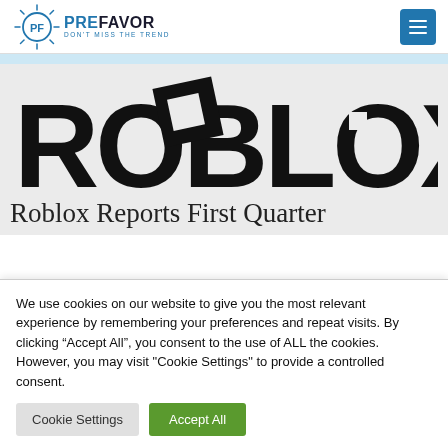PRE FAVOR — DON'T MISS THE TREND
[Figure (logo): Roblox wordmark logo in bold black letters on light gray background]
Roblox Reports First Quarter
We use cookies on our website to give you the most relevant experience by remembering your preferences and repeat visits. By clicking "Accept All", you consent to the use of ALL the cookies. However, you may visit "Cookie Settings" to provide a controlled consent.